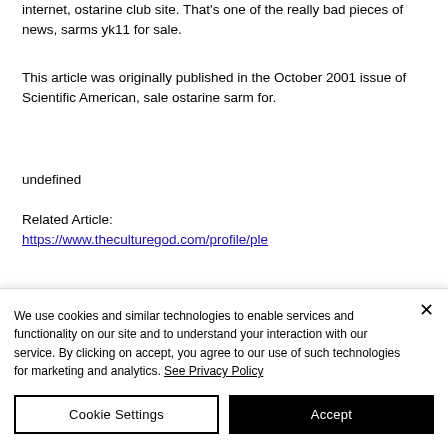internet, ostarine club site. That's one of the really bad pieces of news, sarms yk11 for sale.
This article was originally published in the October 2001 issue of Scientific American, sale ostarine sarm for.
undefined
Related Article:
https://www.theculturegod.com/profile/ple
We use cookies and similar technologies to enable services and functionality on our site and to understand your interaction with our service. By clicking on accept, you agree to our use of such technologies for marketing and analytics. See Privacy Policy
Cookie Settings
Accept